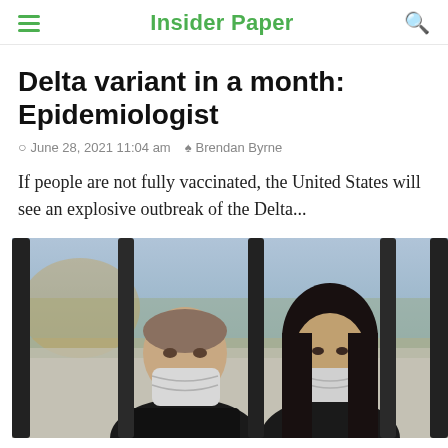Insider Paper
Delta variant in a month: Epidemiologist
June 28, 2021 11:04 am  Brendan Byrne
If people are not fully vaccinated, the United States will see an explosive outbreak of the Delta...
[Figure (photo): Two people wearing face masks standing behind black metal bars, outdoors, in a pandemic setting.]